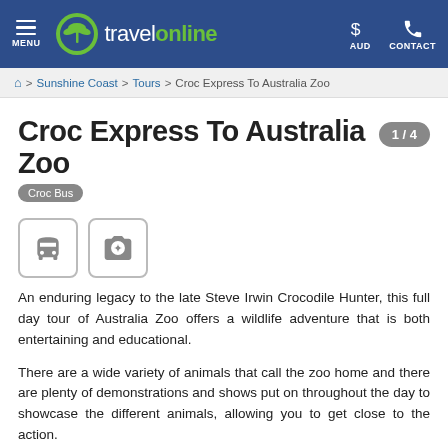travelonline — MENU | AUD | CONTACT
🏠 > Sunshine Coast > Tours > Croc Express To Australia Zoo
Croc Express To Australia Zoo
[Figure (other): Bus icon and camera icon in square bordered boxes]
An enduring legacy to the late Steve Irwin Crocodile Hunter, this full day tour of Australia Zoo offers a wildlife adventure that is both entertaining and educational.
There are a wide variety of animals that call the zoo home and there are plenty of demonstrations and shows put on throughout the day to showcase the different animals, allowing you to get close to the action.
At the Tiger Temple you can watch the tigers playing with their handlers. The Crocoseum is where the exciting feeding